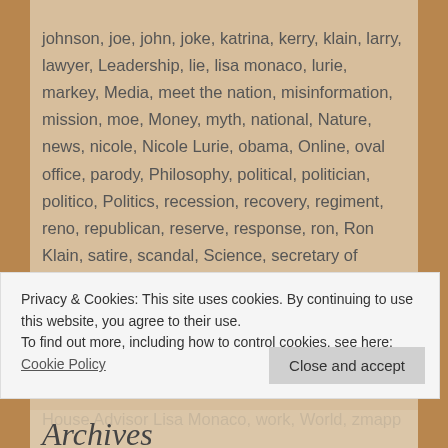johnson, joe, john, joke, katrina, kerry, klain, larry, lawyer, Leadership, lie, lisa monaco, lurie, markey, Media, meet the nation, misinformation, mission, moe, Money, myth, national, Nature, news, nicole, Nicole Lurie, obama, Online, oval office, parody, Philosophy, political, politician, politico, Politics, recession, recovery, regiment, reno, republican, reserve, response, ron, Ron Klain, satire, scandal, Science, secretary of defense, security, Security Advisor Susan Rice, siga, smallpox, solyndra, steve, stimulus, stooges, susan rice, tax, technologies, terror, terrorism, terrorist, three, three stooges, tom, united states, usa, vaccine, wasted, white, White House Advisor Lisa Monaco, work, World, zmapp
Privacy & Cookies: This site uses cookies. By continuing to use this website, you agree to their use.
To find out more, including how to control cookies, see here: Cookie Policy
Archives